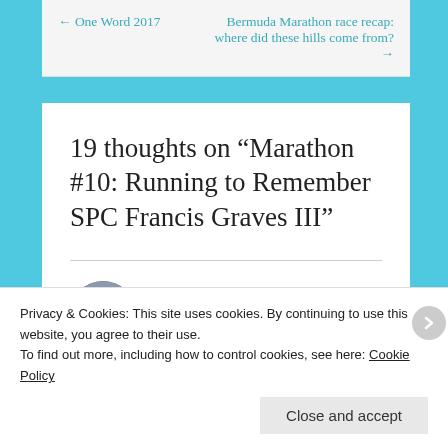← One Word 2017   |   Bermuda Marathon race recap: where did these hills come from? →
19 thoughts on “Marathon #10: Running to Remember SPC Francis Graves III”
Robert Keith Cartwright
January 12, 2017 at 12:56 pm
Privacy & Cookies: This site uses cookies. By continuing to use this website, you agree to their use.
To find out more, including how to control cookies, see here: Cookie Policy
Close and accept